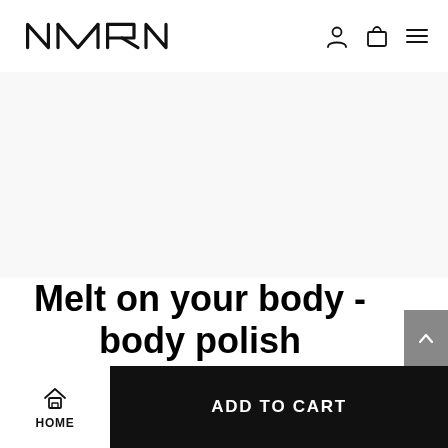[Figure (logo): Naam brand logo in stylized black text]
[Figure (photo): Product image area (large white/light gray area showing product)]
Melt on your body - body polish
While salt scrubs may be too harsh for sensitive
HOME   ADD TO CART